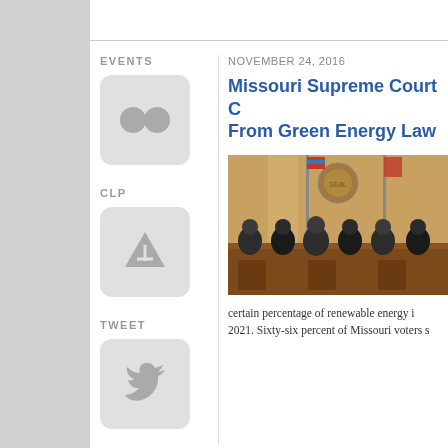EVENTS
[Figure (logo): Flickr social media button icon with two circles]
CLP
[Figure (logo): CLP share button with upward arrow icon]
TWEET
[Figure (logo): Twitter bird icon button]
FUND
NOVEMBER 24, 2016
Missouri Supreme Court C From Green Energy Law
[Figure (photo): Missouri Supreme Court judges seated in robes at bench with American and Missouri flags, court seal on wall behind them]
certain percentage of renewable energy i 2021. Sixty-six percent of Missouri voters s